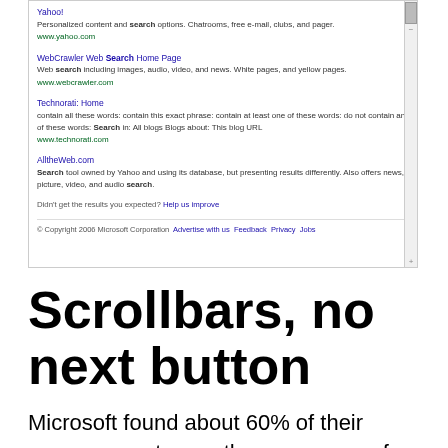[Figure (screenshot): Screenshot of a search results page (MSN/Live Search) showing results for Yahoo!, WebCrawler Web Search Home Page, Technorati: Home, and AlltheWeb.com, with a footer bar showing copyright and links.]
Scrollbars, no next button
Microsoft found about 60% of their users request more than one page of results for